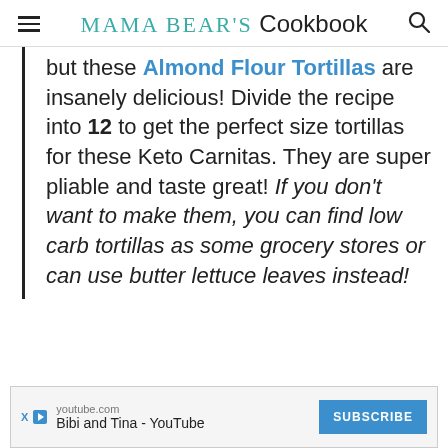Mama Bear's Cookbook
but these Almond Flour Tortillas are insanely delicious! Divide the recipe into 12 to get the perfect size tortillas for these Keto Carnitas. They are super pliable and taste great! If you don't want to make them, you can find low carb tortillas as some grocery stores or can use butter lettuce leaves instead!
[Figure (screenshot): YouTube advertisement banner showing 'youtube.com', 'Bibi and Tina - YouTube', a Subscribe button, and ad icons.]